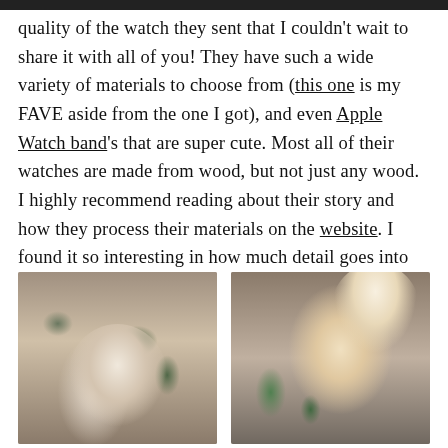quality of the watch they sent that I couldn't wait to share it with all of you! They have such a wide variety of materials to choose from (this one is my FAVE aside from the one I got), and even Apple Watch band's that are super cute. Most all of their watches are made from wood, but not just any wood. I highly recommend reading about their story and how they process their materials on the website. I found it so interesting in how much detail goes into making each watch.
[Figure (photo): Photo of a blonde woman standing in a stylish room with plants, shelving, and artwork in the background, wearing a light-colored sweater.]
[Figure (photo): Close-up photo of a blonde woman looking downward and smiling, wearing a light-colored sweater, with plants and interior decor visible in the background.]